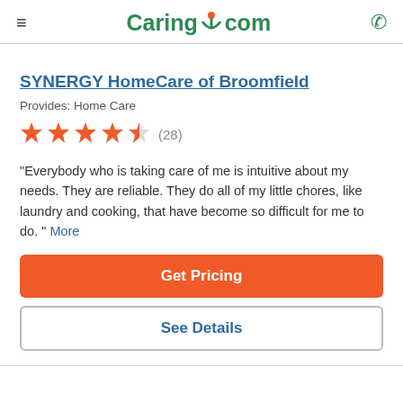≡  Caring.com  ☎
SYNERGY HomeCare of Broomfield
Provides: Home Care
[Figure (infographic): 4.5 star rating with 28 reviews]
"Everybody who is taking care of me is intuitive about my needs. They are reliable. They do all of my little chores, like laundry and cooking, that have become so difficult for me to do. " More
Get Pricing
See Details